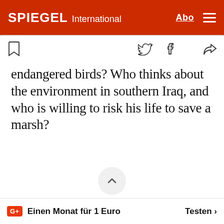SPIEGEL International
endangered birds? Who thinks about the environment in southern Iraq, and who is willing to risk his life to save a marsh?
Einen Monat für 1 Euro  Testen >